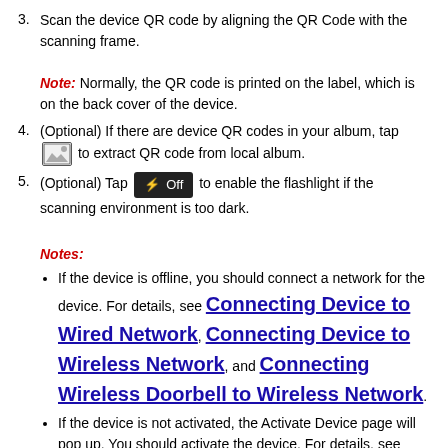3. Scan the device QR code by aligning the QR Code with the scanning frame. Note: Normally, the QR code is printed on the label, which is on the back cover of the device.
4. (Optional) If there are device QR codes in your album, tap [image icon] to extract QR code from local album.
5. (Optional) Tap [flashlight off button] to enable the flashlight if the scanning environment is too dark.
Notes:
If the device is offline, you should connect a network for the device. For details, see Connecting Device to Wired Network, Connecting Device to Wireless Network, and Connecting Wireless Doorbell to Wireless Network.
If the device is not activated, the Activate Device page will pop up. You should activate the device. For details, see Activating Device.